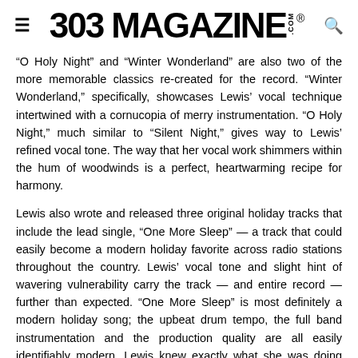303 MAGAZINE .COM ®
“O Holy Night” and “Winter Wonderland” are also two of the more memorable classics re-created for the record. “Winter Wonderland,” specifically, showcases Lewis’ vocal technique intertwined with a cornucopia of merry instrumentation. “O Holy Night,” much similar to “Silent Night,” gives way to Lewis’ refined vocal tone. The way that her vocal work shimmers within the hum of woodwinds is a perfect, heartwarming recipe for harmony.
Lewis also wrote and released three original holiday tracks that include the lead single, “One More Sleep” — a track that could easily become a modern holiday favorite across radio stations throughout the country. Lewis’ vocal tone and slight hint of wavering vulnerability carry the track — and entire record — further than expected. “One More Sleep” is most definitely a modern holiday song; the upbeat drum tempo, the full band instrumentation and the production quality are all easily identifiably modern. Lewis knew exactly what she was doing when she created “One More Sleep,” and Mariah Carey’s “All I Want For Christmas Is You” could’ve arguably been the blueprint